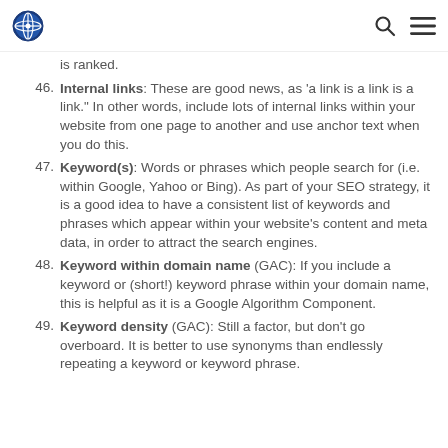[Logo] [Search icon] [Menu icon]
is ranked.
46. Internal links: These are good news, as 'a link is a link is a link." In other words, include lots of internal links within your website from one page to another and use anchor text when you do this.
47. Keyword(s): Words or phrases which people search for (i.e. within Google, Yahoo or Bing). As part of your SEO strategy, it is a good idea to have a consistent list of keywords and phrases which appear within your website's content and meta data, in order to attract the search engines.
48. Keyword within domain name (GAC): If you include a keyword or (short!) keyword phrase within your domain name, this is helpful as it is a Google Algorithm Component.
49. Keyword density (GAC): Still a factor, but don't go overboard. It is better to use synonyms than endlessly repeating a keyword or keyword phrase.